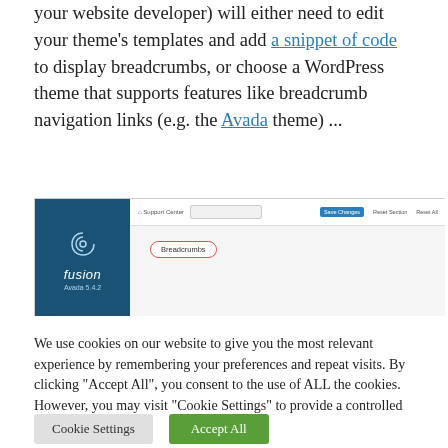your website developer) will either need to edit your theme's templates and add a snippet of code to display breadcrumbs, or choose a WordPress theme that supports features like breadcrumb navigation links (e.g. the Avada theme) ...
[Figure (screenshot): Screenshot of the Avada/Fusion theme settings panel showing a 'Breadcrumbs' option circled in red]
We use cookies on our website to give you the most relevant experience by remembering your preferences and repeat visits. By clicking "Accept All", you consent to the use of ALL the cookies. However, you may visit "Cookie Settings" to provide a controlled consent.